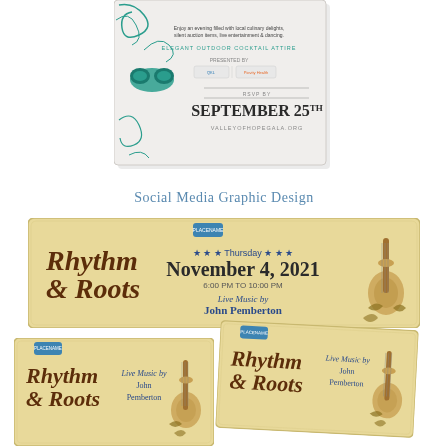[Figure (illustration): Masquerade gala invitation card showing decorative teal mask, swirls, sponsor logos, RSVP by September 25th, valleyofhopegala.org]
Social Media Graphic Design
[Figure (illustration): Parchment-style horizontal banner for Rhythm & Roots event, Thursday November 4, 2021, 6:00 PM to 10:00 PM, Live Music by John Pemberton, with guitar illustration]
[Figure (illustration): Square parchment card for Rhythm & Roots, Live Music by John Pemberton, with guitar illustration]
[Figure (illustration): Slightly rotated parchment card for Rhythm & Roots, Live Music by John Pemberton, with guitar illustration]